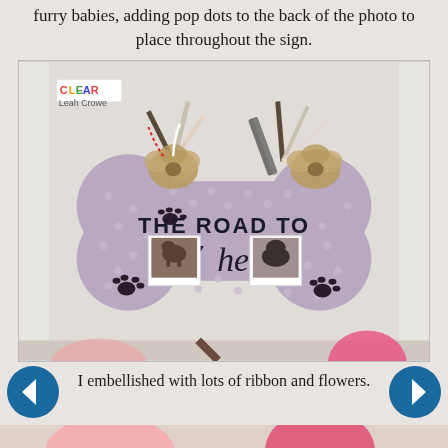furry babies, adding pop dots to the back of the photo to place throughout the sign.
[Figure (photo): A dog bone-shaped sign decorated with polka dots, paw prints, burlap flowers, ribbons, and small photos of dogs. Text on sign reads 'THE ROAD TO MY heart'. CLEAR brand logo and 'Leah Crowe' watermark visible.]
I embellished with lots of ribbon and flowers.